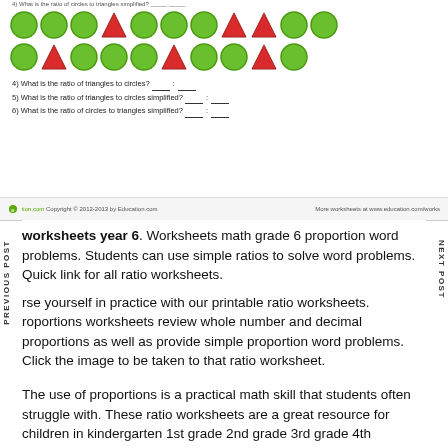[Figure (illustration): Worksheet showing two rows of green circles and red triangles shapes, followed by questions about ratios]
4) What is the ratio of triangles to circles? ____ : ____
5) What is the ratio of triangles to circles simplified? ____ : ____
6) What is the ratio of circles to triangles simplified? ____ : ____
Copyright © 2012-2013 by Education.com   More worksheets at www.education.com/works
worksheets year 6. Worksheets math grade 6 proportions word problems. Students can use simple ratios to solve word problems. Quick link for all ratio worksheets.
rse yourself in practice with our printable ratio worksheets. Proportions worksheets review whole number and decimal proportions as well as provide simple proportion word problems. Click the image to be taken to that ratio worksheet.
The use of proportions is a practical math skill that students often struggle with. These ratio worksheets are a great resource for children in kindergarten 1st grade 2nd grade 3rd grade 4th